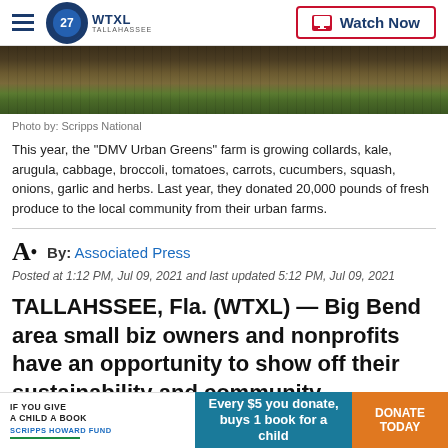WTXL TALLAHASSEE | Watch Now
[Figure (photo): Farm field with soil and low-growing green crops, aerial/close view]
Photo by: Scripps National
This year, the "DMV Urban Greens" farm is growing collards, kale, arugula, cabbage, broccoli, tomatoes, carrots, cucumbers, squash, onions, garlic and herbs. Last year, they donated 20,000 pounds of fresh produce to the local community from their urban farms.
By: Associated Press
Posted at 1:12 PM, Jul 09, 2021 and last updated 5:12 PM, Jul 09, 2021
TALLAHSSEE, Fla. (WTXL) — Big Bend area small biz owners and nonprofits have an opportunity to show off their sustainability and community empowerment with a
IF YOU GIVE A CHILD A BOOK SCRIPPS HOWARD FUND | Every $5 you donate, buys 1 book for a child | DONATE TODAY